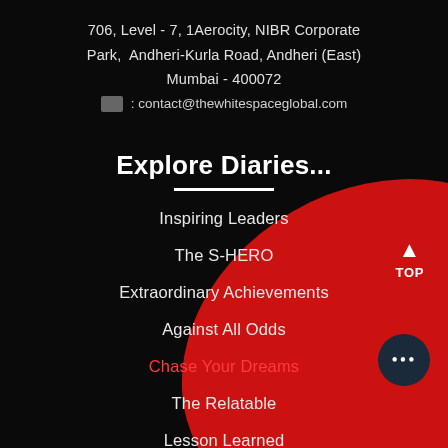706, Level - 7, 1Aerocity, NIBR Corporate Park,  Andheri-Kurla Road, Andheri (East)
Mumbai - 400072
: contact@thewhitespaceglobal.com
Explore Diaries...
Inspiring Leaders
The S-HERO
Extraordinary Achievements
Against All Odds
Chase Your Dreams
The Relatable
Lesson Learned